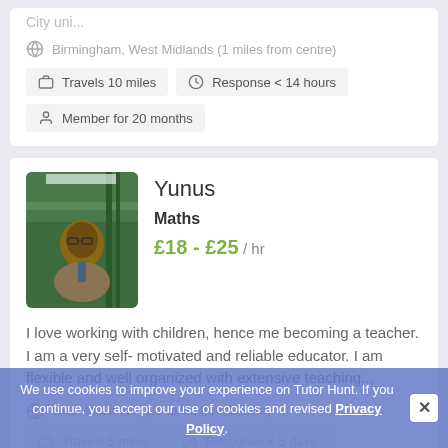City uni...
Birmingham, West Midlands (1 miles from centre)
Travels 10 miles
Response < 14 hours
Member for 20 months
Yunus
Maths
£18 - £25 / hr
I love working with children, hence me becoming a teacher. I am a very self- motivated and reliable educator. I am flexible and well organized with extensive teaching...
West Midlands (1.1 miles from centre)
We use cookies to improve your experience on Tutor Hunt. If you continue, you accept our use of cookies and revised Privacy Policy.